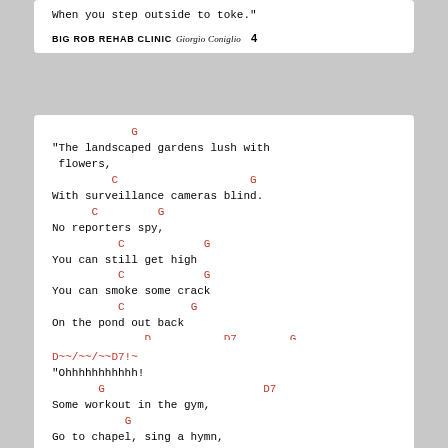When you step outside to toke."
BIG ROB REHAB CLINIC  Giorgio Coniglio  4
G
"The landscaped gardens lush with
 flowers,
         C                    G
With surveillance cameras blind.
      C         G
No reporters spy,
          C            G
You can still get high
          C            G
You can smoke some crack
          C          G
On the pond out back
              D           D7        G
In the Big Rob Rehab Clinic."
BIG ROB REHAB CLINIC  Giorgio Coniglio  5
D~~/~~/~~D7!~
"Ohhhhhhhhhhh!
       G                        D7
Some workout in the gym,
           G
Go to chapel, sing a hymn,